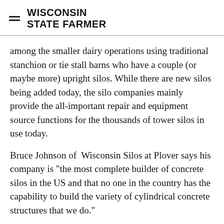WISCONSIN STATE FARMER
among the smaller dairy operations using traditional stanchion or tie stall barns who have a couple (or maybe more) upright silos. While there are new silos being added today, the silo companies mainly provide the all-important repair and equipment source functions for the thousands of tower silos in use today.
Bruce Johnson of  Wisconsin Silos at Plover says his company is "the most complete builder of concrete silos in the US and that no one in the country has the capability to build the variety of cylindrical concrete structures that we do."
Advertisement
[Figure (other): Orange/red advertisement banner at bottom of page]